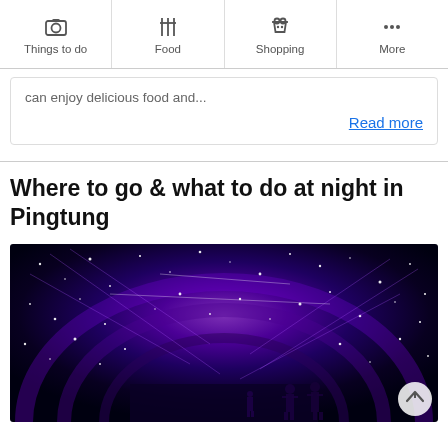Things to do | Food | Shopping | More
can enjoy delicious food and...
Read more
Where to go & what to do at night in Pingtung
[Figure (photo): Night scene photo showing a tunnel of bright blue and purple twinkling lights with people walking underneath]